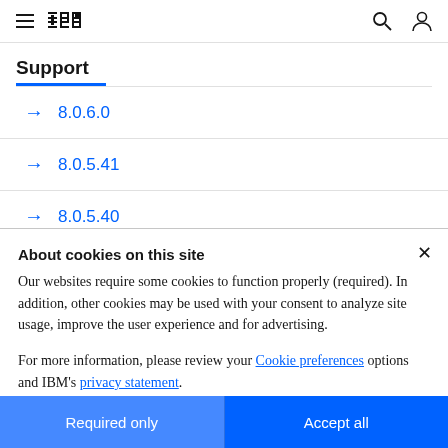IBM Support
Support
→ 8.0.6.0
→ 8.0.5.41
→ 8.0.5.40
About cookies on this site
Our websites require some cookies to function properly (required). In addition, other cookies may be used with your consent to analyze site usage, improve the user experience and for advertising.
For more information, please review your Cookie preferences options and IBM's privacy statement.